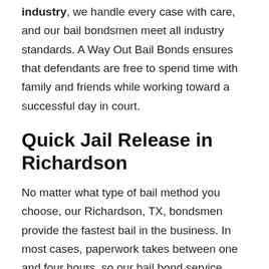industry, we handle every case with care, and our bail bondsmen meet all industry standards. A Way Out Bail Bonds ensures that defendants are free to spend time with family and friends while working toward a successful day in court.
Quick Jail Release in Richardson
No matter what type of bail method you choose, our Richardson, TX, bondsmen provide the fastest bail in the business. In most cases, paperwork takes between one and four hours, so our bail bond service focuses on speeding up that process. We even provide mobile bond delivery.
You should never wait long for release from jail: Once the bond and cosigner have been approved, we can be at